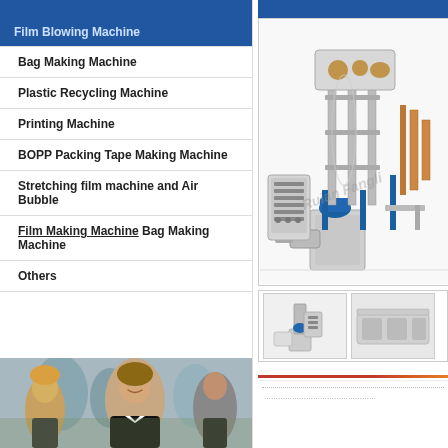Film Blowing Machine
Film Blowing Machine
Bag Making Machine
Plastic Recycling Machine
Printing Machine
BOPP Packing Tape Making Machine
Stretching film machine and Air Bubble
Film Making Machine / Bag Making Machine
Others
[Figure (photo): Business people group photo with woman smiling in foreground]
[Figure (photo): Film blowing machine industrial equipment, tall tower structure with extruder and control panel, Ruian brand watermark]
[Figure (photo): Thumbnail of small film blowing machine]
[Figure (photo): Thumbnail of another machine component or accessory]